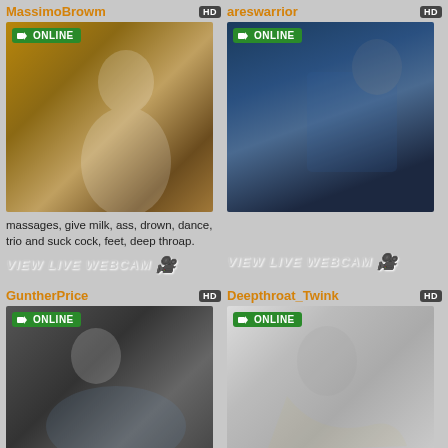MassimoBrowm
[Figure (photo): Young man outdoors in autumn foliage setting with HD badge and ONLINE badge]
massages, give milk, ass, drown, dance, trio and suck cock, feet, deep throap.
VIEW LIVE WEBCAM
areswarrior
[Figure (photo): Man in black jacket sitting with superhero poster in background, HD badge and ONLINE badge]
VIEW LIVE WEBCAM
GuntherPrice
[Figure (photo): Man lying down in jeans on dark background, HD badge and ONLINE badge]
Deepthroat_Twink
[Figure (photo): Man with curly hair against light background, HD badge and ONLINE badge]